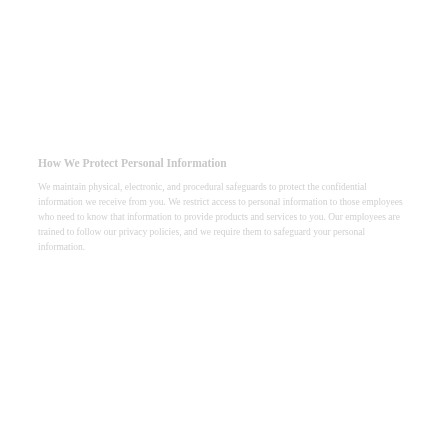How We Protect Personal Information
We maintain physical, electronic, and procedural safeguards to protect the confidential information we receive from you. We restrict access to personal information to those employees who need to know that information to provide products and services to you. Our employees are trained to follow our privacy policies, and we require them to safeguard your personal information.